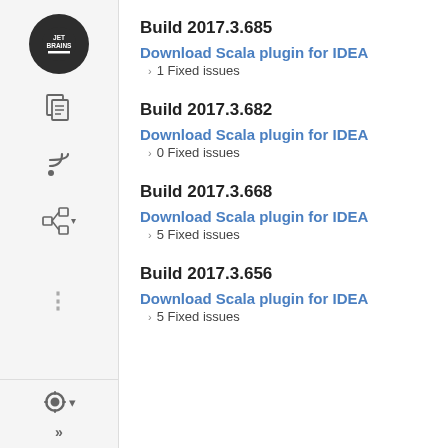[Figure (screenshot): Sidebar navigation with JetBrains logo, document icon, RSS feed icon, tree/hierarchy icon, dots menu, gear/settings icon, and double-arrow icon]
Build 2017.3.685
Download Scala plugin for IDEA
> 1 Fixed issues
Build 2017.3.682
Download Scala plugin for IDEA
> 0 Fixed issues
Build 2017.3.668
Download Scala plugin for IDEA
> 5 Fixed issues
Build 2017.3.656
Download Scala plugin for IDEA
> 5 Fixed issues